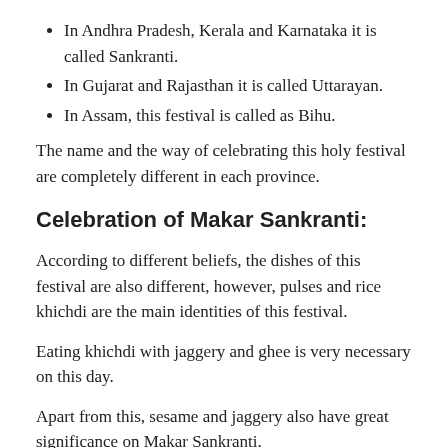In Andhra Pradesh, Kerala and Karnataka it is called Sankranti.
In Gujarat and Rajasthan it is called Uttarayan.
In Assam, this festival is called as Bihu.
The name and the way of celebrating this holy festival are completely different in each province.
Celebration of Makar Sankranti:
According to different beliefs, the dishes of this festival are also different, however, pulses and rice khichdi are the main identities of this festival.
Eating khichdi with jaggery and ghee is very necessary on this day.
Apart from this, sesame and jaggery also have great significance on Makar Sankranti.
On this day, getting up early within the morning and bathing with